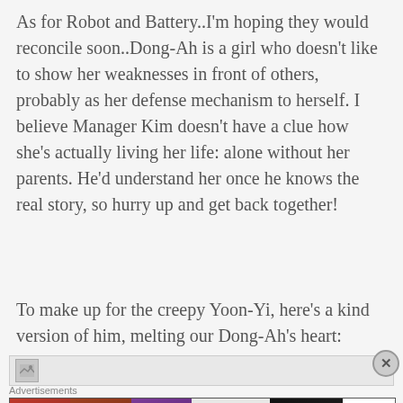As for Robot and Battery..I'm hoping they would reconcile soon..Dong-Ah is a girl who doesn't like to show her weaknesses in front of others, probably as her defense mechanism to herself. I believe Manager Kim doesn't have a clue how she's actually living her life: alone without her parents. He'd understand her once he knows the real story, so hurry up and get back together!
To make up for the creepy Yoon-Yi, here's a kind version of him, melting our Dong-Ah's heart:
[Figure (other): Broken/loading image placeholder with close button]
Advertisements
[Figure (illustration): Ulta Beauty advertisement banner showing lips, makeup brush, eye with eyeshadow, Ulta logo, dramatic eye makeup, and SHOP NOW button]